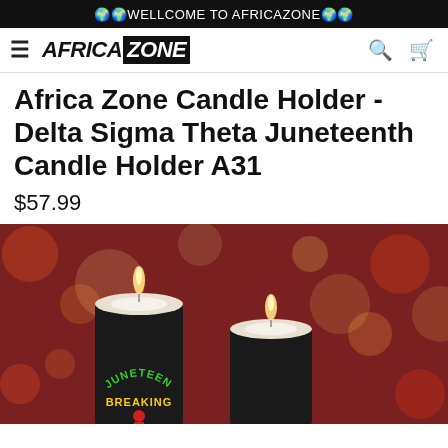🌍🌍WELLCOME TO AFRICAZONE🌍🌍
[Figure (screenshot): Africa Zone website navigation bar with hamburger menu, AFRICAZONE logo, search and cart icons]
Africa Zone Candle Holder - Delta Sigma Theta Juneteenth Candle Holder A31
$57.99
[Figure (photo): Product photo of two black square candle holders with lit candles on top. The candle holders feature 'JUNETEENTH BREAKING' text in green and yellow with a figure graphic, set against a warm bokeh background with red and gold lights.]